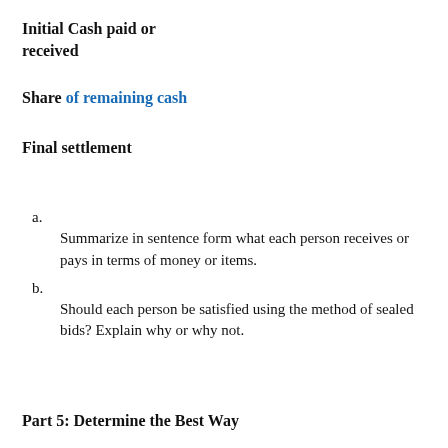Initial Cash paid or received
Share of remaining cash
Final settlement
a.
Summarize in sentence form what each person receives or pays in terms of money or items.
b.
Should each person be satisfied using the method of sealed bids? Explain why or why not.
Part 5: Determine the Best Way